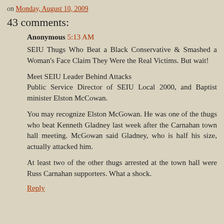on Monday, August 10, 2009
43 comments:
Anonymous 5:13 AM
SEIU Thugs Who Beat a Black Conservative & Smashed a Woman's Face Claim They Were the Real Victims. But wait!
Meet SEIU Leader Behind Attacks
Public Service Director of SEIU Local 2000, and Baptist minister Elston McCowan.
You may recognize Elston McGowan. He was one of the thugs who beat Kenneth Gladney last week after the Carnahan town hall meeting. McGowan said Gladney, who is half his size, actually attacked him.
At least two of the other thugs arrested at the town hall were Russ Carnahan supporters. What a shock.
Reply